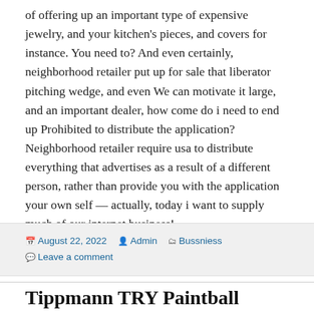of offering up an important type of expensive jewelry, and your kitchen's pieces, and covers for instance. You need to? And even certainly, neighborhood retailer put up for sale that liberator pitching wedge, and even We can motivate it large, and an important dealer, how come do i need to end up Prohibited to distribute the application? Neighborhood retailer require usa to distribute everything that advertises as a result of a different person, rather than provide you with the application your own self — actually, today i want to supply much of our internet business!
August 22, 2022  Admin  Bussniess  Leave a comment
Tippmann TRY Paintball